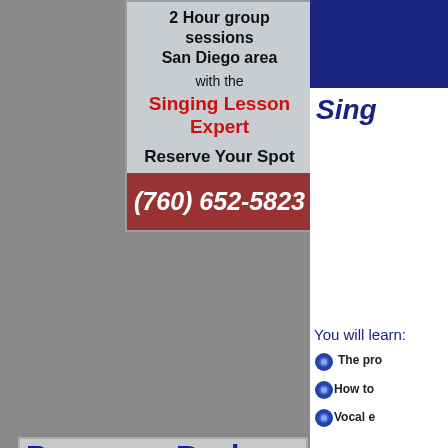[Figure (infographic): Advertisement for singing lessons: 2 Hour group sessions in San Diego area with the Singing Lesson Expert. Reserve Your Spot. Phone (760) 652-5823.]
[Figure (infographic): Promo ad: Become a Real Artist - Stop singing cover songs - Learn How to Write Your [songs]. Features photo of young woman with microphone wearing a beret hat.]
[Figure (infographic): Right column partial: Navy blue header bar, 'Sing...' title text, 'You will learn:' section with bullet points including 'The pro...', 'How to...', 'Vocal e...']